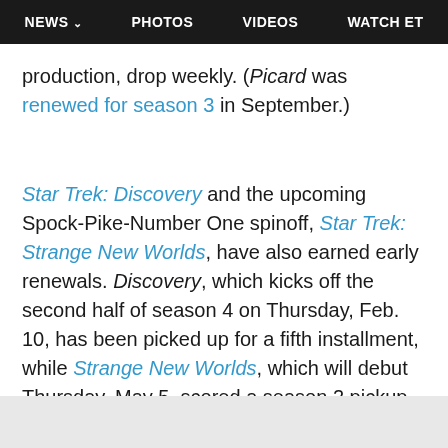NEWS  PHOTOS  VIDEOS  WATCH ET
production, drop weekly. (Picard was renewed for season 3 in September.)
Star Trek: Discovery and the upcoming Spock-Pike-Number One spinoff, Star Trek: Strange New Worlds, have also earned early renewals. Discovery, which kicks off the second half of season 4 on Thursday, Feb. 10, has been picked up for a fifth installment, while Strange New Worlds, which will debut Thursday, May 5, scored a season 2 pickup ahead of launch.